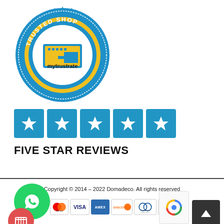[Figure (logo): Trusted Shop Guarantee badge — circular blue seal with gold ring, text 'TRUSTED SHOP' at top and 'GUARANTEE' at bottom, mytrustrate logo in center]
[Figure (illustration): Five blue star rating boxes arranged in a row (Trustpilot-style stars)]
FIVE STAR REVIEWS
[Figure (logo): WhatsApp green circle icon]
Copyright © 2014 – 2022 Domadeco. All rights reserved
[Figure (logo): Payment method logos: Maestro, Visa, AMEX, Discover, Diners Club International, JCB, and partially visible others]
[Figure (logo): Scroll-to-top arrow button (dark box, white up arrow)]